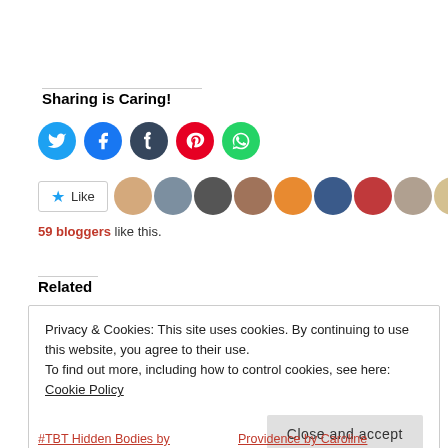Sharing is Caring!
[Figure (infographic): Row of social media icon buttons: Twitter (blue), Facebook (blue), Tumblr (dark), Pinterest (red), WhatsApp (green)]
[Figure (infographic): Like button with star icon followed by a row of blogger avatar thumbnails]
59 bloggers like this.
Related
Privacy & Cookies: This site uses cookies. By continuing to use this website, you agree to their use.
To find out more, including how to control cookies, see here: Cookie Policy
Close and accept
#TBT Hidden Bodies by
Providence by Caroline